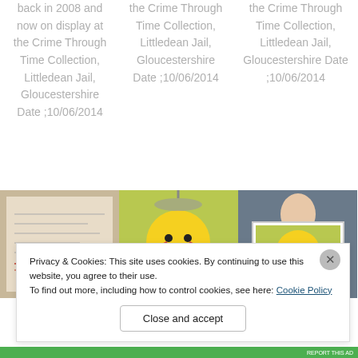back in 2008 and now on display at the Crime Through Time Collection, Littledean Jail, Gloucestershire Date ;10/06/2014
the Crime Through Time Collection, Littledean Jail, Gloucestershire Date ;10/06/2014
the Crime Through Time Collection, Littledean Jail, Gloucestershire Date ;10/06/2014
[Figure (photo): Document/paper with handwritten signatures and text]
[Figure (photo): Colorful painting/illustration of cartoon characters against a yellow background]
[Figure (photo): Person holding up a painting/illustration]
Privacy & Cookies: This site uses cookies. By continuing to use this website, you agree to their use.
To find out more, including how to control cookies, see here: Cookie Policy
Close and accept